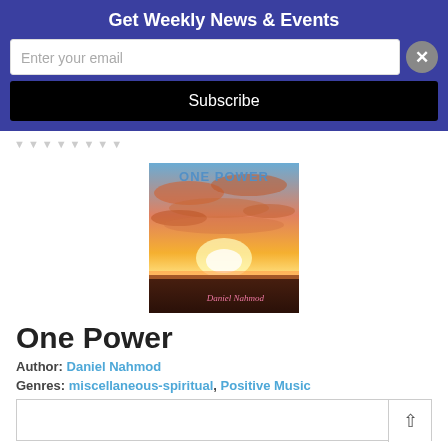Get Weekly News & Events
Enter your email
Subscribe
[Figure (illustration): Album cover for 'One Power' by Daniel Nahmod showing a sunset with orange and red sky, text 'ONE POWER' at top in blue letters, and 'Daniel Nahmod' in cursive at bottom right]
One Power
Author: Daniel Nahmod
Genres: miscellaneous-spiritual, Positive Music